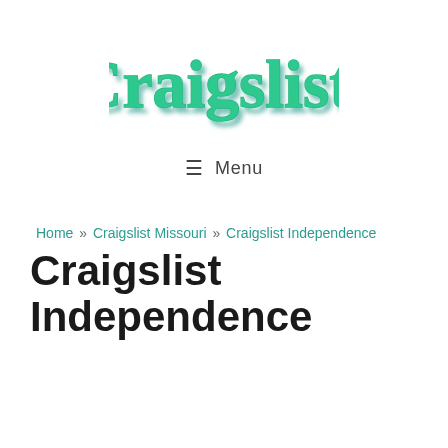[Figure (logo): Craigslistt script logo in green with teal shadow, cursive handwritten style]
≡ Menu
Home » Craigslist Missouri » Craigslist Independence
Craigslist Independence